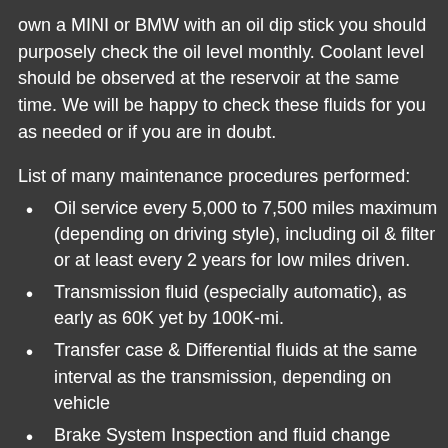own a MINI or BMW with an oil dip stick you should purposely check the oil level monthly. Coolant level should be observed at the reservoir at the same time. We will be happy to check these fluids for you as needed or if you are in doubt.
List of many maintenance procedures performed:
Oil service every 5,000 to 7,500 miles maximum (depending on driving style), including oil & filter or at least every 2 years for low miles driven.
Transmission fluid (especially automatic), as early as 60K yet by 100K-mi.
Transfer case & Differential fluids at the same interval as the transmission, depending on vehicle
Brake System Inspection and fluid change every 2 years